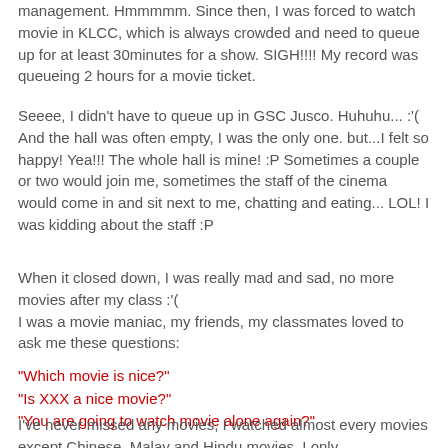management. Hmmmmm. Since then, I was forced to watch movie in KLCC, which is always crowded and need to queue up for at least 30minutes for a show. SIGH!!!! My record was queueing 2 hours for a movie ticket.
Seeee, I didn't have to queue up in GSC Jusco. Huhuhu... :'( And the hall was often empty, I was the only one. but...I felt so happy! Yea!!! The whole hall is mine! :P Sometimes a couple or two would join me, sometimes the staff of the cinema would come in and sit next to me, chatting and eating... LOL! I was kidding about the staff :P
When it closed down, I was really mad and sad, no more movies after my class :'(
I was a movie maniac, my friends, my classmates loved to ask me these questions:
"Which movie is nice?"
"Is XXX a nice movie?"
"You are going to watch movie alone again?"
I've never missed any movies, I watched almost every movies except Chinese, Malay and Hindu movies. I only